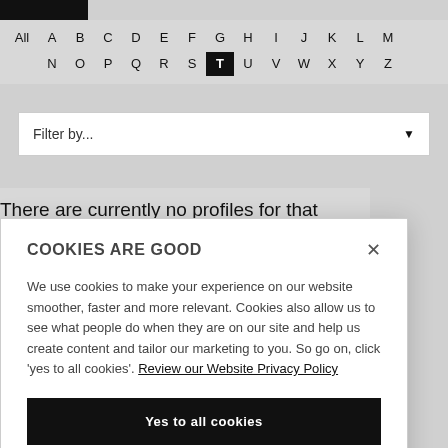[Figure (screenshot): Alphabet navigation bar with letters All, A-M on first row and N-Z on second row, with T highlighted in black]
[Figure (screenshot): Filter by... dropdown selector with dark triangle arrow]
There are currently no profiles for that selection.
COOKIES ARE GOOD
We use cookies to make your experience on our website smoother, faster and more relevant. Cookies also allow us to see what people do when they are on our site and help us create content and tailor our marketing to you. So go on, click 'yes to all cookies'. Review our Website Privacy Policy
Yes to all cookies
Let me choose